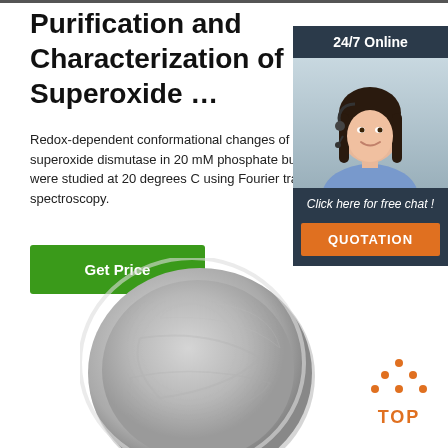Purification and Characterization of Superoxide …
Redox-dependent conformational changes of bovine superoxide dismutase in 20 mM phosphate buffer were studied at 20 degrees C using Fourier transform spectroscopy.
Get Price
[Figure (photo): Chat widget with agent photo, 24/7 Online label, Click here for free chat text, and QUOTATION orange button]
[Figure (photo): Gray circular dish/petri dish product photo]
[Figure (other): Orange TOP back-to-top button with dot triangle icon]